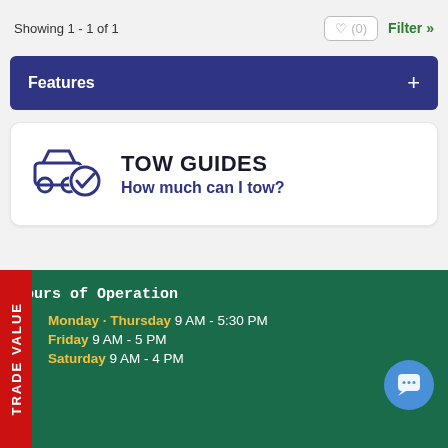Showing 1 - 1 of 1
Features
[Figure (illustration): Tow Guides card with car and checkmark icon, title TOW GUIDES and subtitle How much can I tow?]
Hours of Operation
Monday - Thursday 9 AM - 5:30 PM
Friday 9 AM - 5 PM
Saturday 9 AM - 4 PM